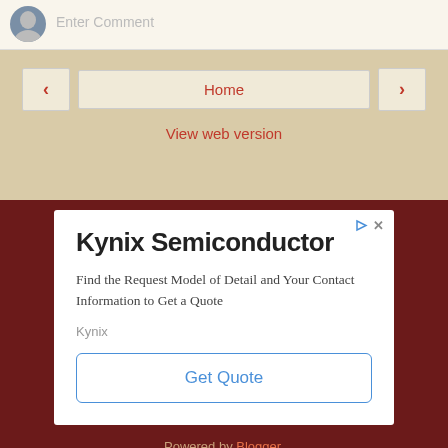Enter Comment
Home
View web version
[Figure (screenshot): Advertisement card for Kynix Semiconductor with title, description, brand name, and Get Quote button on dark red background]
Powered by Blogger.